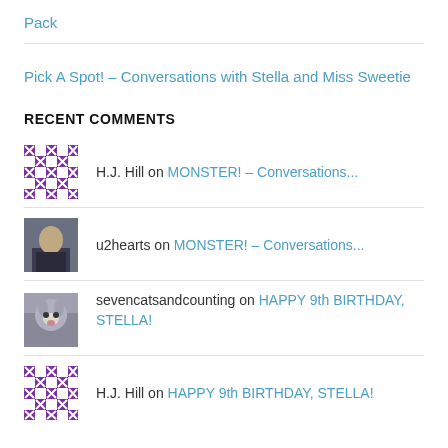Pack
Pick A Spot! – Conversations with Stella and Miss Sweetie
RECENT COMMENTS
H.J. Hill on MONSTER! – Conversations...
u2hearts on MONSTER! – Conversations...
sevencatsandcounting on HAPPY 9th BIRTHDAY, STELLA!
H.J. Hill on HAPPY 9th BIRTHDAY, STELLA!